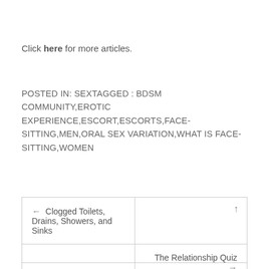Click here for more articles.
POSTED IN: SEXTAGGED : BDSM COMMUNITY,EROTIC EXPERIENCE,ESCORT,ESCORTS,FACE-SITTING,MEN,ORAL SEX VARIATION,WHAT IS FACE-SITTING,WOMEN
| ← Clogged Toilets, Drains, Showers, and Sinks | ↑ |
|  | The Relationship Quiz → |